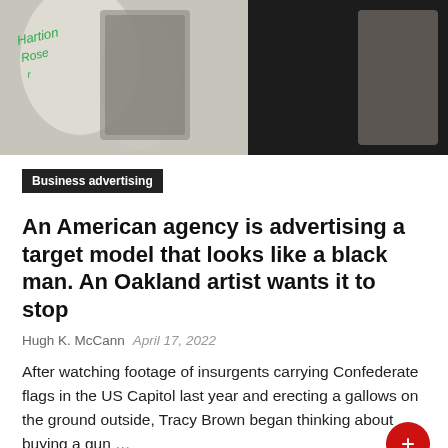[Figure (photo): Photo of people holding signs/flags, including a white banner with green handwritten text and a person in a dark top, partially cropped]
Business advertising
An American agency is advertising a target model that looks like a black man. An Oakland artist wants it to stop
Hugh K. McCann   April 17, 2022
After watching footage of insurgents carrying Confederate flags in the US Capitol last year and erecting a gallows on the ground outside, Tracy Brown began thinking about buying a gun …
READ MORE